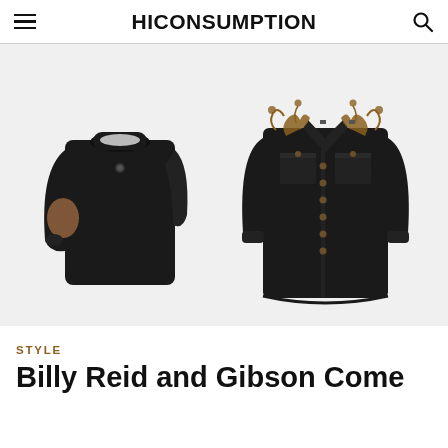HICONSUMPTION
[Figure (photo): Two black garments side by side on white background: left is a black crewneck sweater with brown leather elbow patches; right is a black denim western shirt with gold/brown floral embroidery on the chest and snap buttons.]
STYLE
Billy Reid and Gibson Come